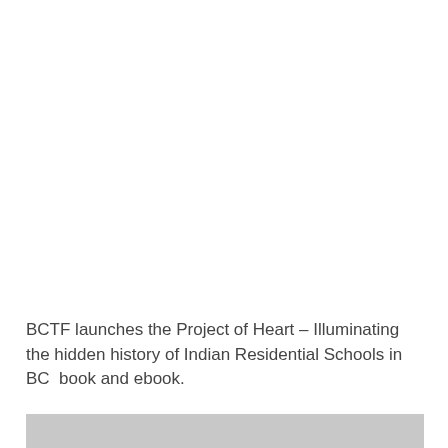BCTF launches the Project of Heart – Illuminating the hidden history of Indian Residential Schools in BC  book and ebook.
[Figure (photo): A partial image strip at the bottom of the page, showing the top edge of a photograph (light grey/silver band visible).]